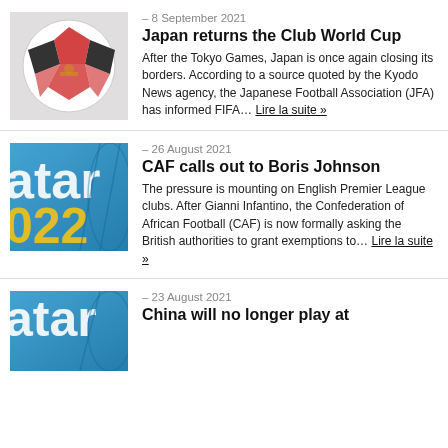[Figure (photo): Close-up of a FIFA Club World Cup soccer ball with red and black geometric pattern]
– 8 September 2021
Japan returns the Club World Cup
After the Tokyo Games, Japan is once again closing its borders. According to a source quoted by the Kyodo News agency, the Japanese Football Association (JFA) has informed FIFA… Lire la suite »
[Figure (photo): Qatar 2022 FIFA World Cup logo on blue background with soccer ball pattern]
– 26 August 2021
CAF calls out to Boris Johnson
The pressure is mounting on English Premier League clubs. After Gianni Infantino, the Confederation of African Football (CAF) is now formally asking the British authorities to grant exemptions to… Lire la suite »
[Figure (photo): Qatar 2022 FIFA World Cup logo on blue background]
– 23 August 2021
China will no longer play at